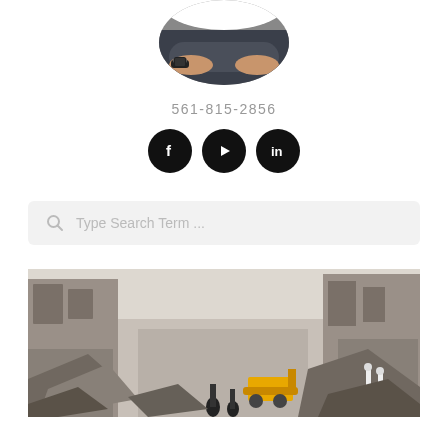[Figure (photo): Circular profile photo showing a person wearing a dark sweater and a smartwatch, arms crossed, cropped to show lower face and torso.]
561-815-2856
[Figure (illustration): Three black circular social media icon buttons: Facebook (f), YouTube (play triangle), LinkedIn (in).]
[Figure (screenshot): Search bar with magnifying glass icon and placeholder text 'Type Search Term ...' on a light gray background.]
[Figure (photo): Photograph of a destroyed urban street with collapsed buildings, rubble, people walking, and a yellow bulldozer/excavator visible amid the debris.]